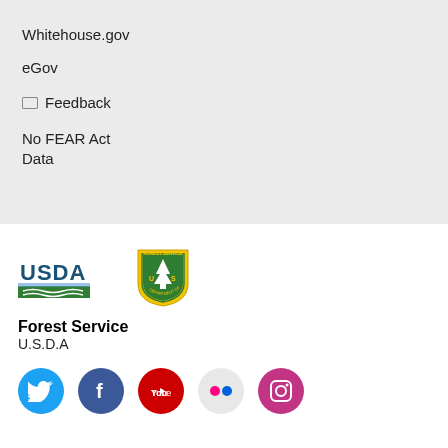Whitehouse.gov
eGov
✉ Feedback
No FEAR Act Data
[Figure (logo): USDA Forest Service logo - USDA wordmark with green stripe and Forest Service shield badge]
Forest Service
U.S.D.A
[Figure (infographic): Social media icons row: Twitter (blue bird), Facebook (blue f), YouTube (red), Flickr (grey), Instagram (pink)]